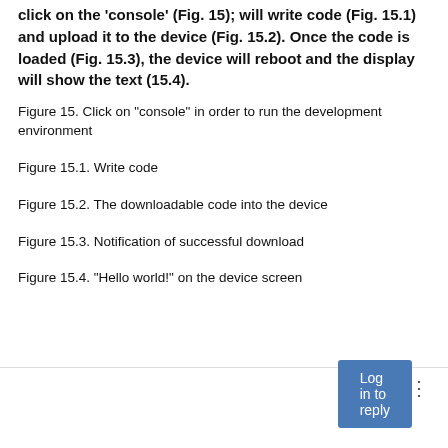click on the 'console' (Fig. 15); will write code (Fig. 15.1) and upload it to the device (Fig. 15.2). Once the code is loaded (Fig. 15.3), the device will reboot and the display will show the text (15.4).
Figure 15. Click on "console" in order to run the development environment
Figure 15.1. Write code
Figure 15.2. The downloadable code into the device
Figure 15.3. Notification of successful download
Figure 15.4. "Hello world!" on the device screen
Log in to reply